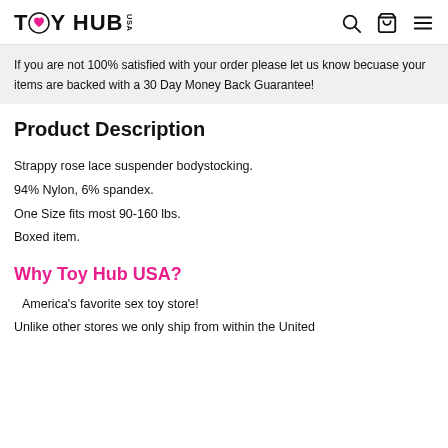TOY HUB USA
If you are not 100% satisfied with your order please let us know becuase your items are backed with a 30 Day Money Back Guarantee!
Product Description
Strappy rose lace suspender bodystocking.
94% Nylon, 6% spandex.
One Size fits most 90-160 lbs.
Boxed item.
Why Toy Hub USA?
America's favorite sex toy store!
Unlike other stores we only ship from within the United